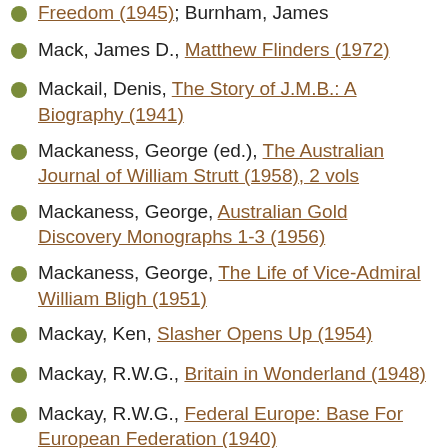Freedom (1945); Burnham, James [partial/cut off at top]
Mack, James D., Matthew Flinders (1972)
Mackail, Denis, The Story of J.M.B.: A Biography (1941)
Mackaness, George (ed.), The Australian Journal of William Strutt (1958), 2 vols
Mackaness, George, Australian Gold Discovery Monographs 1-3 (1956)
Mackaness, George, The Life of Vice-Admiral William Bligh (1951)
Mackay, Ken, Slasher Opens Up (1954)
Mackay, R.W.G., Britain in Wonderland (1948)
Mackay, R.W.G., Federal Europe: Base For European Federation (1940)
Mackay, R.W.G., Peace Aims and the New Order (1941) [partial/cut off at bottom]